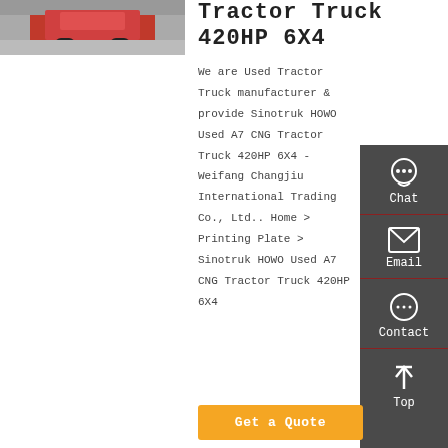[Figure (photo): Red tractor truck photographed from the rear, parked in a yard]
Tractor Truck 420HP 6X4
We are Used Tractor Truck manufacturer & provide Sinotruk HOWO Used A7 CNG Tractor Truck 420HP 6X4 - Weifang Changjiu International Trading Co., Ltd.. Home > Printing Plate > Sinotruk HOWO Used A7 CNG Tractor Truck 420HP 6X4
Chat
Email
Contact
Top
Get a Quote